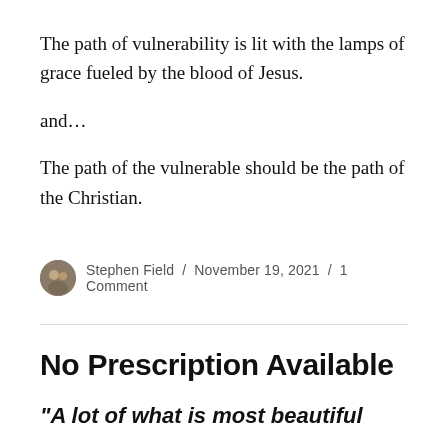The path of vulnerability is lit with the lamps of grace fueled by the blood of Jesus.
and…
The path of the vulnerable should be the path of the Christian.
Stephen Field / November 19, 2021 / 1 Comment
No Prescription Available
“A lot of what is most beautiful